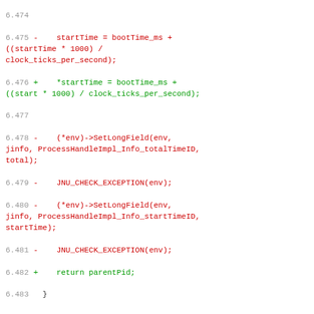6.474
6.475 -    startTime = bootTime_ms + ((startTime * 1000) / clock_ticks_per_second);
6.476 +    *startTime = bootTime_ms + ((start * 1000) / clock_ticks_per_second);
6.477
6.478 -    (*env)->SetLongField(env, jinfo, ProcessHandleImpl_Info_totalTimeID, total);
6.479 -    JNU_CHECK_EXCEPTION(env);
6.480 -    (*env)->SetLongField(env, jinfo, ProcessHandleImpl_Info_startTimeID, startTime);
6.481 -    JNU_CHECK_EXCEPTION(env);
6.482 +    return parentPid;
6.483   }
6.484
6.485   /**
6.486 @@ -632,6 +644,7 @@
6.487       char *cmdline = NULL, *cmdEnd; // used for command line args and exe
6.488       jstring cmdexe = NULL;
6.489       char fn[32];
6.490 +    struct stat stat_buf;
6.491
6.492       /*
6.493       * Try to open /proc/%d/cmdline